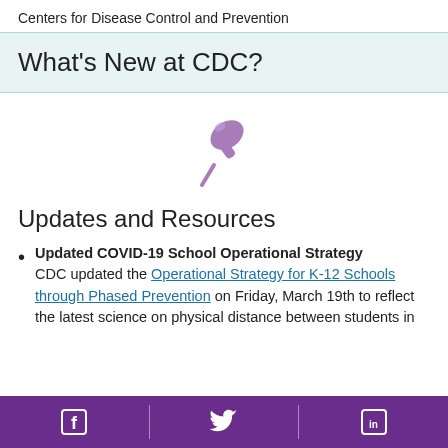Centers for Disease Control and Prevention
What's New at CDC?
[Figure (illustration): A pushpin / thumbtack icon in mauve/purple color, centered on the page]
Updates and Resources
Updated COVID-19 School Operational Strategy
CDC updated the Operational Strategy for K-12 Schools through Phased Prevention on Friday, March 19th to reflect the latest science on physical distance between students in
Facebook | Twitter | LinkedIn social icons on purple bar